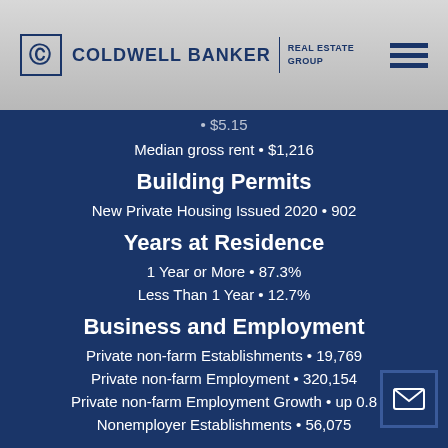COLDWELL BANKER | REAL ESTATE GROUP
$5.15
Median gross rent • $1,216
Building Permits
New Private Housing Issued 2020 • 902
Years at Residence
1 Year or More • 87.3%
Less Than 1 Year • 12.7%
Business and Employment
Private non-farm Establishments • 19,769
Private non-farm Employment • 320,154
Private non-farm Employment Growth • up 0.8
Nonemployer Establishments • 56,075